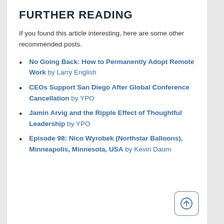FURTHER READING
If you found this article interesting, here are some other recommended posts.
No Going Back: How to Permanently Adopt Remote Work by Larry English
CEOs Support San Diego After Global Conference Cancellation by YPO
Jamin Arvig and the Ripple Effect of Thoughtful Leadership by YPO
Episode 98: Nico Wyrobek (Northstar Balloons), Minneapolis, Minnesota, USA by Kevin Daum